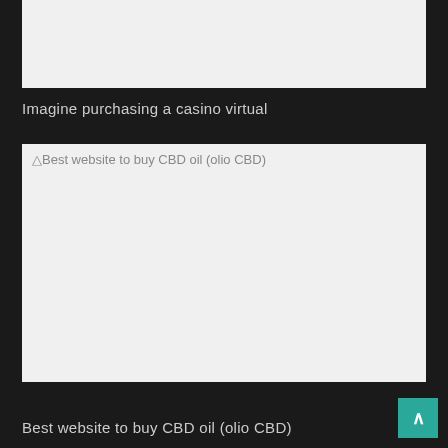[Figure (other): Top image placeholder box, light gray background, partially visible at top of page]
Imagine purchasing a casino virtual
[Figure (photo): Image placeholder for 'Best website to buy CBD oil (olio CBD)' — broken image with alt text visible, light gray background]
Best website to buy CBD oil (olio CBD)